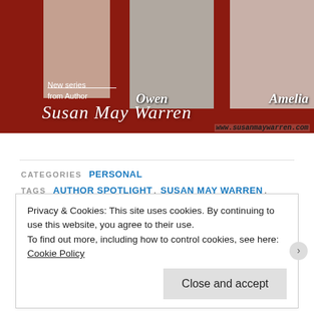[Figure (illustration): Banner image for author Susan May Warren featuring photos of characters Owen and Amelia on a dark red background, with script text 'New series from Author Susan May Warren' and website www.susanmaywarren.com]
CATEGORIES  PERSONAL
TAGS  AUTHOR SPOTLIGHT, SUSAN MAY WARREN, TAKE A CHANCE ON ME, THE CHRISTIANSONS, THURSDAY
Privacy & Cookies: This site uses cookies. By continuing to use this website, you agree to their use.
To find out more, including how to control cookies, see here:
Cookie Policy
Close and accept